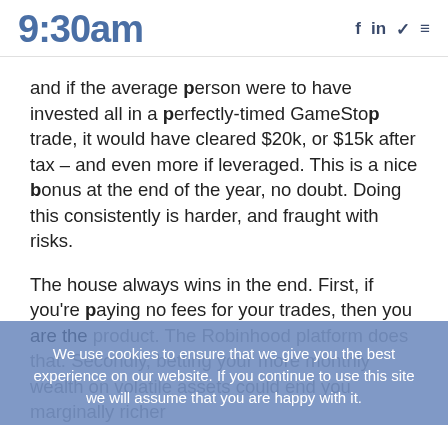9:30am
and if the average person were to have invested all in a perfectly-timed GameStop trade, it would have cleared $20k, or $15k after tax – and even more if leveraged. This is a nice bonus at the end of the year, no doubt. Doing this consistently is harder, and fraught with risks.
The house always wins in the end. First, if you're paying no fees for your trades, then you are the product. The Robinhood platform does that. Secondly, betting your more monthly wealth on volatile assets could end you marginally richer
We use cookies to ensure that we give you the best experience on our website. If you continue to use this site we will assume that you are happy with it.